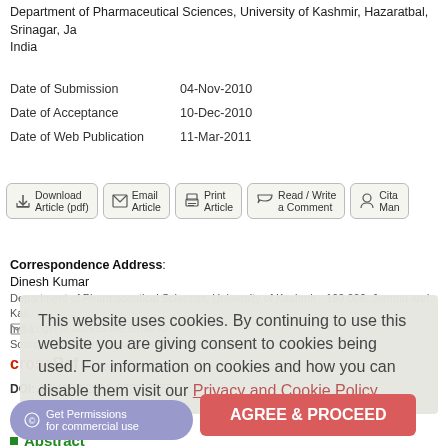Department of Pharmaceutical Sciences, University of Kashmir, Hazaratbal, Srinagar, Jammu and Kashmir, India
Date of Submission   04-Nov-2010
Date of Acceptance   10-Dec-2010
Date of Web Publication   11-Mar-2011
[Figure (screenshot): Row of action buttons: Download Article (pdf), Email Article, Print Article, Read/Write a Comment, Cite/Manage]
Correspondence Address:
Dinesh Kumar
Department of Pharmaceutical Sciences, University of Kashmir - 190 006, Jammu and Kashmir, India
Login to access the email ID
Source of Support: None, Conflict of Interest: None
This website uses cookies. By continuing to use this website you are giving consent to cookies being used. For information on cookies and how you can disable them visit our Privacy and Cookie Policy.
[Figure (logo): CrossRef logo with Check Citations link]
DOI: 10.4103/2231-0738.77531
Abstract